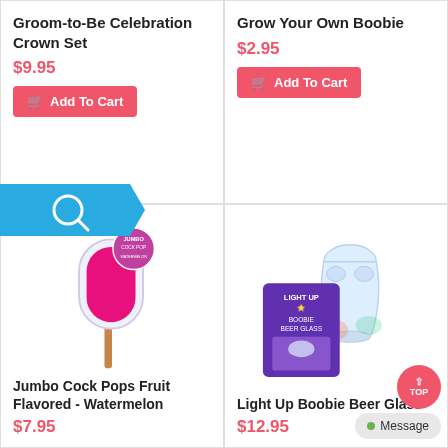Groom-to-Be Celebration Crown Set
$9.95
Add To Cart
Grow Your Own Boobie
$2.95
Add To Cart
[Figure (photo): Pink jumbo cock pop lollipop on a stick with product tag]
Jumbo Cock Pops Fruit Flavored - Watermelon
$7.95
[Figure (photo): Light Up Boobie Beer Glass with purple packaging card]
Light Up Boobie Beer Glass
$12.95